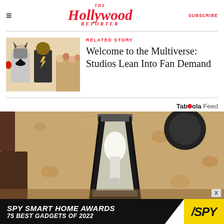The Hollywood Reporter | SUBSCRIBE
RELATED STORY
Welcome to the Multiverse: Studios Lean Into Fan Demand
Taboola Feed
[Figure (photo): Close-up photo of an outdoor wall-mounted lantern light fixture on a textured stucco wall]
[Figure (other): SPY Smart Home Awards advertisement banner: SPY SMART HOME AWARDS 75 BEST GADGETS OF 2022]